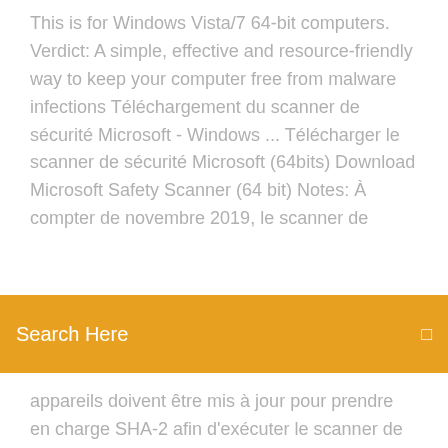This is for Windows Vista/7 64-bit computers. Verdict: A simple, effective and resource-friendly way to keep your computer free from malware infections Téléchargement du scanner de sécurité Microsoft - Windows ... Télécharger le scanner de sécurité Microsoft (64bits) Download Microsoft Safety Scanner (64 bit) Notes: À compter de novembre 2019, le scanner de
[Figure (screenshot): Orange search bar with white text 'Search Here' and a search icon on the right]
appareils doivent être mis à jour pour prendre en charge SHA-2 afin d'exécuter le scanner de sécurité. Your devices Windows Server 2008 R2 Download ISO For 32/64 Bit
Audio mixer software windows 10
Wireless lan driver asus windows 7
Kaspersky antivirus trial version free download for windows 8
Value stream map icons visio
How to convert pdf to epub with adobe digital editions